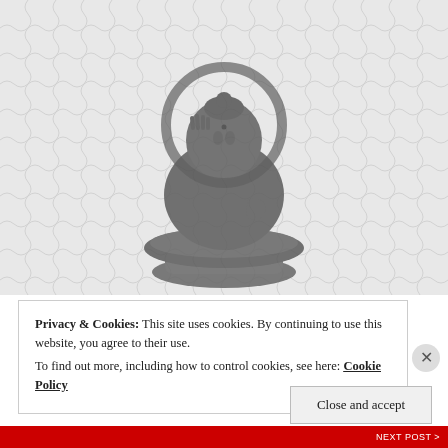[Figure (photo): Black and white photograph of a Buddha statue seated on a lotus throne with a halo, displayed against a jigsaw puzzle background.]
Privacy & Cookies: This site uses cookies. By continuing to use this website, you agree to their use.
To find out more, including how to control cookies, see here: Cookie Policy
Close and accept